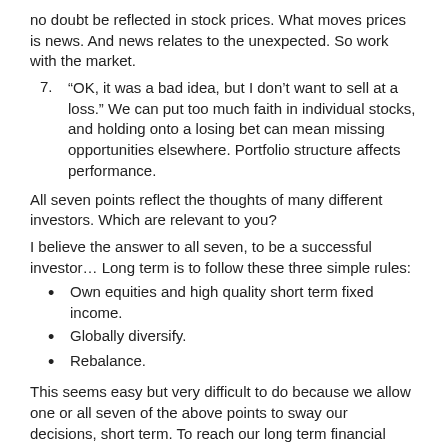no doubt be reflected in stock prices. What moves prices is news. And news relates to the unexpected. So work with the market.
7. “OK, it was a bad idea, but I don’t want to sell at a loss.” We can put too much faith in individual stocks, and holding onto a losing bet can mean missing opportunities elsewhere. Portfolio structure affects performance.
All seven points reflect the thoughts of many different investors. Which are relevant to you?
I believe the answer to all seven, to be a successful investor… Long term is to follow these three simple rules:
Own equities and high quality short term fixed income.
Globally diversify.
Rebalance.
This seems easy but very difficult to do because we allow one or all seven of the above points to sway our decisions, short term. To reach our long term financial goals we will need the assistance of an investor coach/fiduciary adviser.